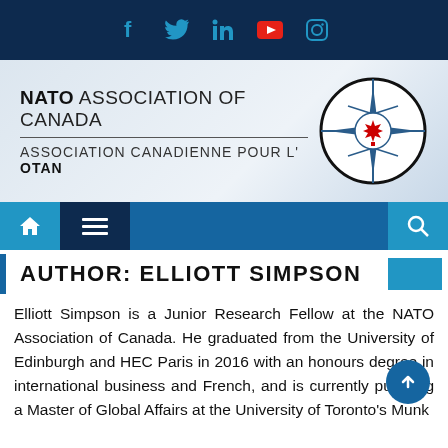[Figure (other): Top dark navy bar with social media icons: Facebook, Twitter, LinkedIn, YouTube, Instagram]
[Figure (logo): NATO Association of Canada / Association Canadienne pour l'OTAN logo banner with compass symbol incorporating Canadian maple leaf]
[Figure (other): Navigation bar with home icon, hamburger menu icon, and search icon]
AUTHOR: ELLIOTT SIMPSON
Elliott Simpson is a Junior Research Fellow at the NATO Association of Canada. He graduated from the University of Edinburgh and HEC Paris in 2016 with an honours degree in international business and French, and is currently pursuing a Master of Global Affairs at the University of Toronto's Munk